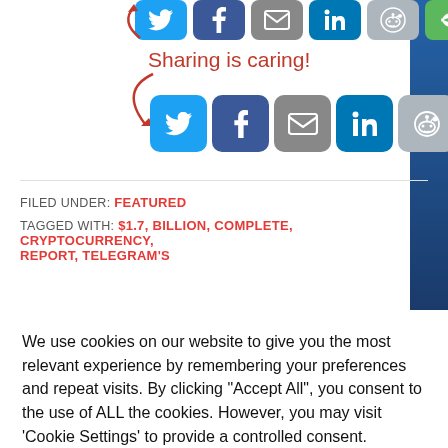[Figure (screenshot): Social share icons row (top, partially cropped): Twitter, Facebook, Email, LinkedIn, Reddit, More]
Sharing is caring!
[Figure (screenshot): Social share icons row (bottom): Twitter, Facebook, Email, LinkedIn, Reddit, More]
FILED UNDER: FEATURED
TAGGED WITH: $1.7, BILLION, COMPLETE, CRYPTOCURRENCY, REPORT, TELEGRAM'S
We use cookies on our website to give you the most relevant experience by remembering your preferences and repeat visits. By clicking "Accept All", you consent to the use of ALL the cookies. However, you may visit 'Cookie Settings' to provide a controlled consent.